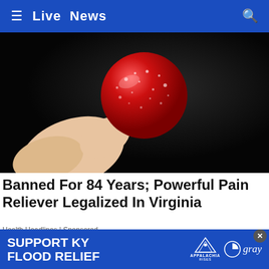≡ Live News 🔍
[Figure (photo): Close-up photo of a hand holding a small red sugary candy/gummy against a dark background]
Banned For 84 Years; Powerful Pain Reliever Legalized In Virginia
Health Headlines | Sponsored
[Figure (photo): Partial photo at bottom of page showing outdoor scene]
SUPPORT KY FLOOD RELIEF  APPALACHIA RISES  gray